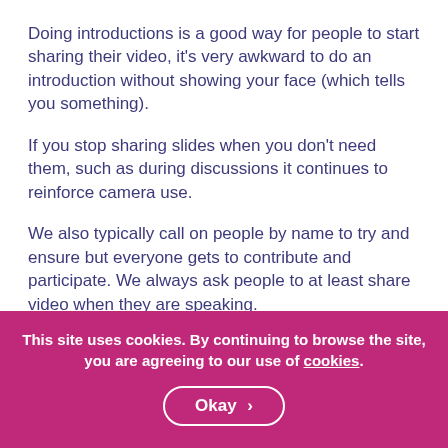Doing introductions is a good way for people to start sharing their video, it's very awkward to do an introduction without showing your face (which tells you something).
If you stop sharing slides when you don't need them, such as during discussions it continues to reinforce camera use.
We also typically call on people by name to try and ensure but everyone gets to contribute and participate. We always ask people to at least share video when they are speaking.
It is not ideal as facilitators, however probably...
This site uses cookies. By continuing to browse the site, you are agreeing to our use of cookies.
Okay >